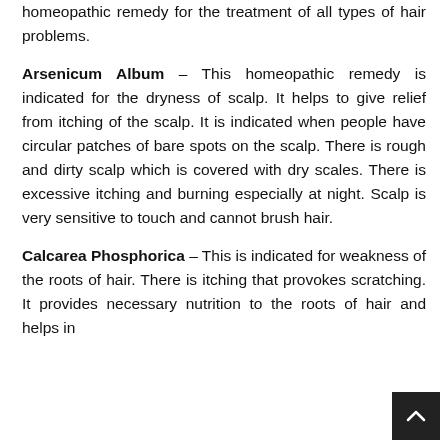homeopathic remedy for the treatment of all types of hair problems.
Arsenicum Album – This homeopathic remedy is indicated for the dryness of scalp. It helps to give relief from itching of the scalp. It is indicated when people have circular patches of bare spots on the scalp. There is rough and dirty scalp which is covered with dry scales. There is excessive itching and burning especially at night. Scalp is very sensitive to touch and cannot brush hair.
Calcarea Phosphorica – This is indicated for weakness of the roots of hair. There is itching that provokes scratching. It provides necessary nutrition to the roots of hair and helps in proper growth of hair.